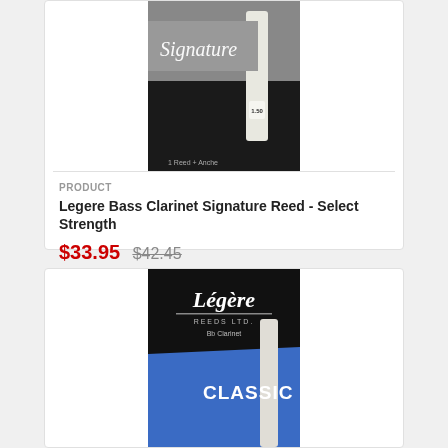[Figure (photo): Legere Bass Clarinet Signature Reed product package — dark grey/black box with silver 'Signature' cursive lettering and a reed visible, labeled '1.50', '1 Reed + Anche']
PRODUCT
Legere Bass Clarinet Signature Reed - Select Strength
$33.95 $42.45
[Figure (photo): Legere Reeds Ltd Bb Clarinet Classic Reed product package — black upper section with white 'Légère REEDS LTD.' logo and 'Bb Clarinet' text, blue lower section with white 'CLASSIC' text and a reed visible]